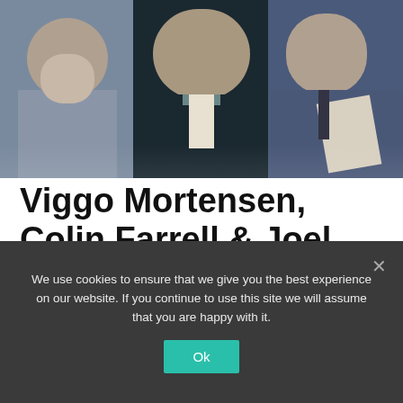[Figure (photo): Three men photographed together — left man in grey-blue shirt, center man in dark formal suit with light cravat, right man in blue shirt with tie holding papers]
Viggo Mortensen, Colin Farrell & Joel Edgerton To Star In Ron Howard's Thai Rescue Project | Film News
We use cookies to ensure that we give you the best experience on our website. If you continue to use this site we will assume that you are happy with it.